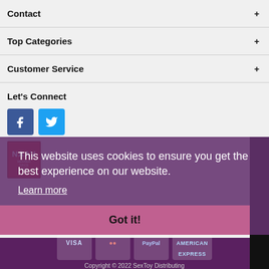Contact
Top Categories
Customer Service
Let's Connect
[Figure (other): Facebook and Twitter social media icon buttons]
[Figure (other): NAAV red badge/logo]
This website uses cookies to ensure you get the best experience on our website.
Learn more
Got it!
[Figure (other): Payment icons: VISA, Mastercard, PayPal, American Express]
Copyright © 2022 SexToy Distributing